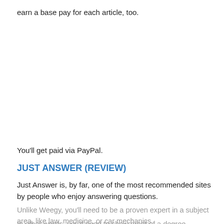earn a base pay for each article, too.
You'll get paid via PayPal.
JUST ANSWER (REVIEW)
Just Answer is, by far, one of the most recommended sites by people who enjoy answering questions.
Unlike Weegy, you'll need to be a proven expert in a subject area, like law, medicine, or car mechanics.
In other words, you'll need to show proof of a degree, license, certification,